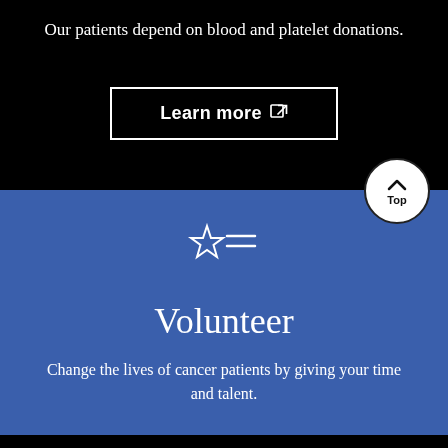Our patients depend on blood and platelet donations.
Learn more ↗
[Figure (illustration): Top-right circle button with upward chevron arrow and 'Top' label]
[Figure (illustration): Star icon with horizontal lines (list/rating icon) in white on blue background]
Volunteer
Change the lives of cancer patients by giving your time and talent.